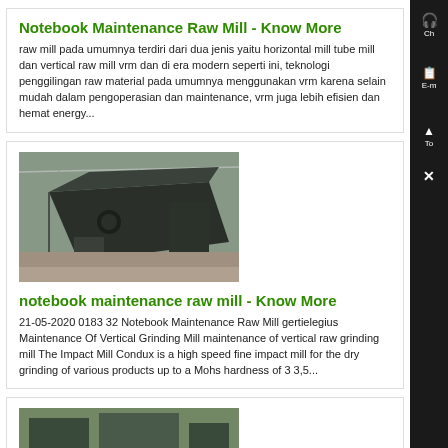Notebook Maintenance Raw Mill - Know More
raw mill pada umumnya terdiri dari dua jenis yaitu horizontal mill tube mill dan vertical raw mill vrm dan di era modern seperti ini, teknologi penggilingan raw material pada umumnya menggunakan vrm karena selain mudah dalam pengoperasian dan maintenance, vrm juga lebih efisien dan hemat energy...
[Figure (photo): Industrial mill machine in a factory/warehouse setting, showing large dark metal equipment]
notebook maintenance raw mill - Know More
21-05-2020 0183 32 Notebook Maintenance Raw Mill gertielegius Maintenance Of Vertical Grinding Mill maintenance of vertical raw grinding mill The Impact Mill Condux is a high speed fine impact mill for the dry grinding of various products up to a Mohs hardness of 3 3,5...
[Figure (photo): Industrial raw mill equipment in an outdoor or factory setting]